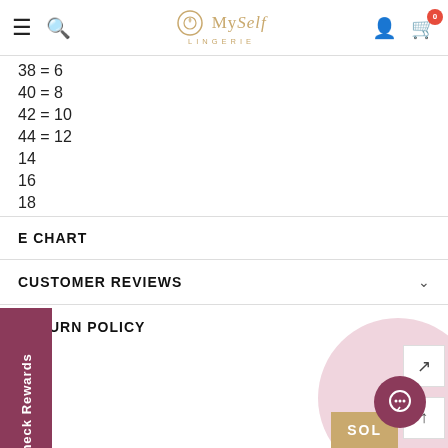MySelf LINGERIE — navigation header with hamburger, search, logo, user and cart icons
38 = 6
40 = 8
42 = 10
44 = 12
14
16
18
E CHART
CUSTOMER REVIEWS
RETURN POLICY